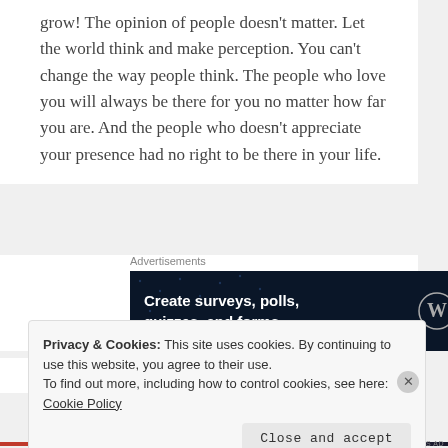grow! The opinion of people doesn't matter. Let the world think and make perception. You can't change the way people think. The people who love you will always be there for you no matter how far you are. And the people who doesn't appreciate your presence had no right to be there in your life.
[Figure (other): Advertisement banner with dark navy background showing 'Create surveys, polls, quizzes, and forms.' with WordPress and Crowdsignal logos]
_SiLeNt PeN
Privacy & Cookies: This site uses cookies. By continuing to use this website, you agree to their use.
To find out more, including how to control cookies, see here: Cookie Policy
Close and accept